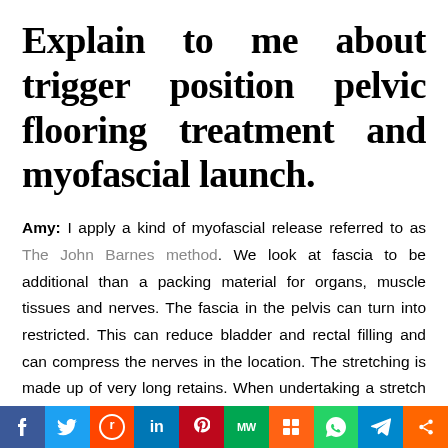Explain to me about trigger position pelvic flooring treatment and myofascial launch.
Amy: I apply a kind of myofascial release referred to as The John Barnes method. We look at fascia to be additional than a packing material for organs, muscle tissues and nerves. The fascia in the pelvis can turn into restricted. This can reduce bladder and rectal filling and can compress the nerves in the location. The stretching is made up of very long retains. When undertaking a stretch that lasts less than 2 minutes the constructions that are stretched include things like elastin. To hold a stretch for 2-5 minutes,
f  Twitter  Reddit  in  Pinterest  MW  Mix  WhatsApp  Telegram  Share